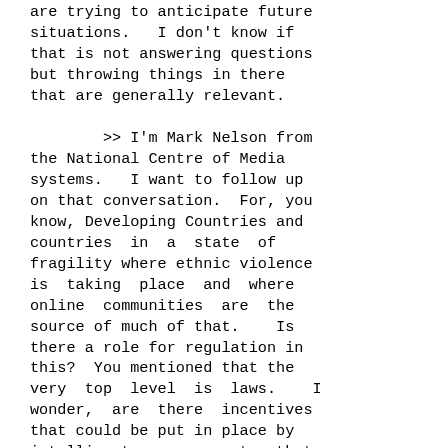are trying to anticipate future situations.  I don't know if that is not answering questions but throwing things in there that are generally relevant.

        >> I'm Mark Nelson from the National Centre of Media systems.  I want to follow up on that conversation.  For, you know, Developing Countries and countries in a state of fragility where ethnic violence is taking place and where online communities are the source of much of that.  Is there a role for regulation in this?  You mentioned that the very top level is laws.  I wonder, are there incentives that could be put in place by intelligent government that would make more self-regulation likely to happen?  Obviously that is not an incentive system we have right now.  The kind of